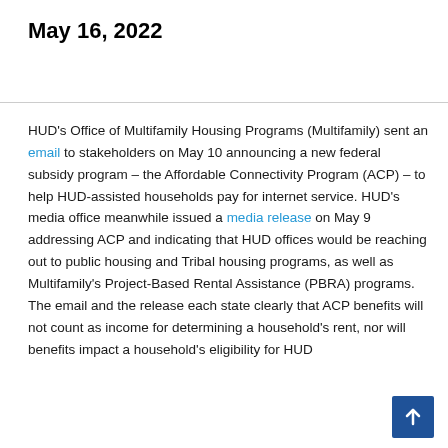May 16, 2022
HUD's Office of Multifamily Housing Programs (Multifamily) sent an email to stakeholders on May 10 announcing a new federal subsidy program – the Affordable Connectivity Program (ACP) – to help HUD-assisted households pay for internet service. HUD's media office meanwhile issued a media release on May 9 addressing ACP and indicating that HUD offices would be reaching out to public housing and Tribal housing programs, as well as Multifamily's Project-Based Rental Assistance (PBRA) programs. The email and the release each state clearly that ACP benefits will not count as income for determining a household's rent, nor will benefits impact a household's eligibility for HUD